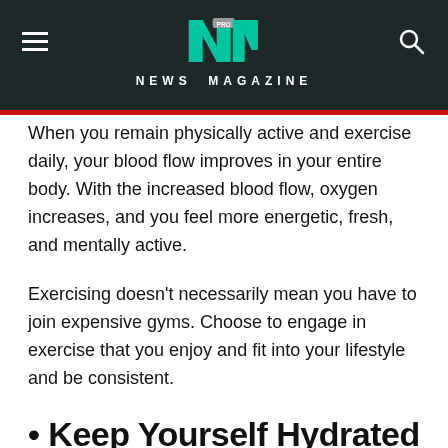NEWS MAGAZINE
When you remain physically active and exercise daily, your blood flow improves in your entire body. With the increased blood flow, oxygen increases, and you feel more energetic, fresh, and mentally active.
Exercising doesn't necessarily mean you have to join expensive gyms. Choose to engage in exercise that you enjoy and fit into your lifestyle and be consistent.
• Keep Yourself Hydrated
It's simple! Your body needs water for survival. Your body loses water every day, so it is essential to continuously hydrate to keep all of your bodily functions going smoothly. Getting adequate water has many health benefits, from energizing muscles, helping